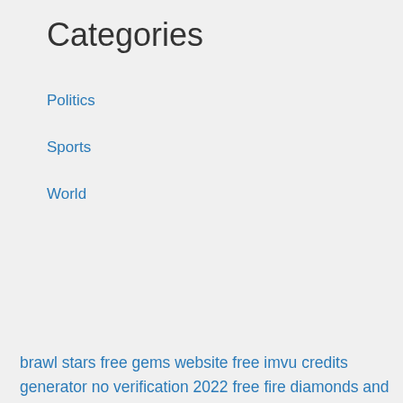Categories
Politics
Sports
World
brawl stars free gems website free imvu credits generator no verification 2022 free fire diamonds and coins free free kr glitch krunker no human verification 2022 free fire diamonds mod how do i get free tiktok followers 2022 free fire diamond earning app in nepal cash app free money generator no offers 2022 cash app money generator jailbreak valorant free points 9000 https://sacap.site-ym.com/global_engine/download_custom.aspx?fileid=99273e09-34f8-4eb1-81da-a7c89914fcbb.pdf&filename=brawl-stars-hack-gems-easy-